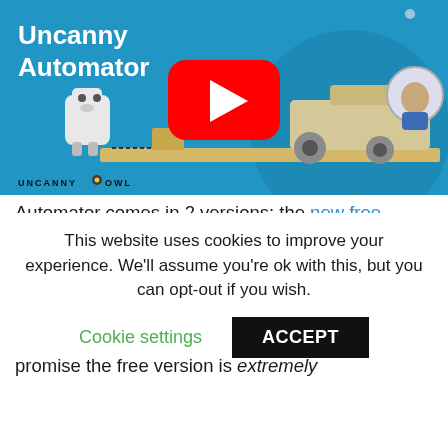[Figure (screenshot): Uncanny Automator video thumbnail on a blue background with a YouTube play button, cartoon robots/machines, and Uncanny Owl logo at bottom left. Text overlay reads 'Uncanny Automator'.]
Automator comes in 2 versions: the new free version on WordPress.org, and a paid Pro version (with different licensing options) available for purchase on this site. Pro does come with more powerful tools (check this list for a full breakdown; it also includes anonymous recipe support) but we promise the free version is extremely
This website uses cookies to improve your experience. We'll assume you're ok with this, but you can opt-out if you wish.
Cookie settings   ACCEPT